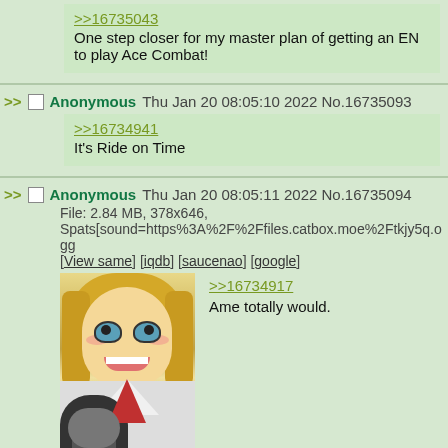>>16735043
One step closer for my master plan of getting an EN to play Ace Combat!
Anonymous Thu Jan 20 08:05:10 2022 No.16735093
>>16734941
It's Ride on Time
Anonymous Thu Jan 20 08:05:11 2022 No.16735094
File: 2.84 MB, 378x646, Spats[sound=https%3A%2F%2Ffiles.catbox.moe%2Ftkjy5q.ogg
[View same] [iqdb] [saucenao] [google]
[Figure (illustration): Anime girl character with blonde hair and blue eyes, wearing a white outfit with red tie, holding a microphone]
>>16734917
Ame totally would.
Anonymous Thu Jan 20 08:05:11 2022 No.16735095
Quoted by: >>16735190